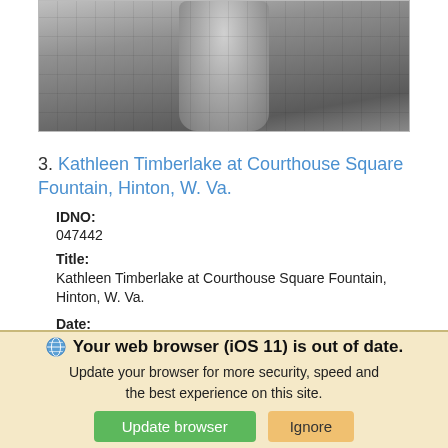[Figure (photo): Partial black and white photograph of a person, cropped at top, appears to be a historical photo]
3. Kathleen Timberlake at Courthouse Square Fountain, Hinton, W. Va.
IDNO:
047442
Title:
Kathleen Timberlake at Courthouse Square Fountain, Hinton, W. Va.
Date:
ca. 1920
Description:
Your web browser (iOS 11) is out of date. Update your browser for more security, speed and the best experience on this site.